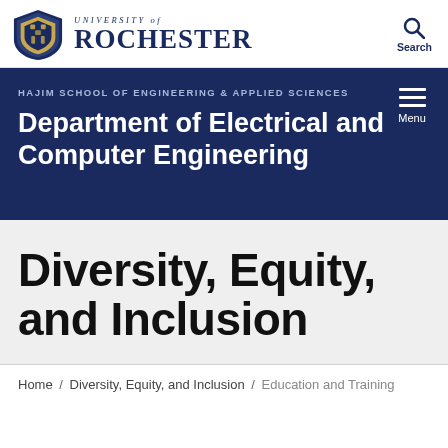University of Rochester
HAJIM SCHOOL OF ENGINEERING & APPLIED SCIENCES
Department of Electrical and Computer Engineering
Diversity, Equity, and Inclusion
Home / Diversity, Equity, and Inclusion / Education and Training